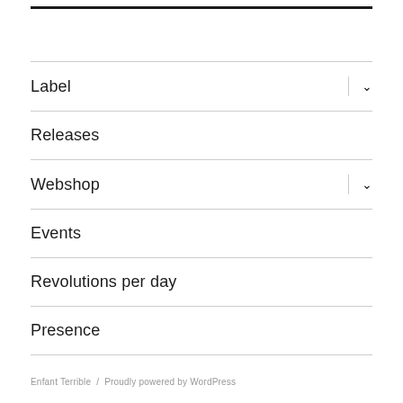Label
Releases
Webshop
Events
Revolutions per day
Presence
Enfant Terrible / Proudly powered by WordPress